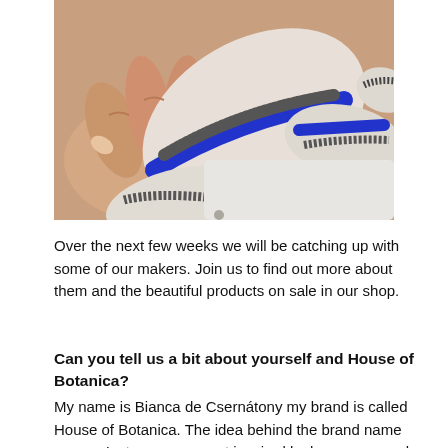[Figure (photo): Close-up photo of hands holding white ceramic or decorative objects with blue and black stripe patterns, lying on a white fabric surface.]
Over the next few weeks we will be catching up with some of our makers. Join us to find out more about them and the beautiful products on sale in our shop.
Can you tell us a bit about yourself and House of Botanica?
My name is Bianca de Csernátony my brand is called House of Botanica. The idea behind the brand name was an Instagram account inspired by homeware and interior design plus botanics